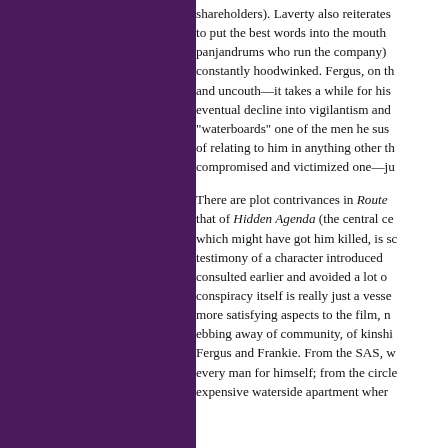shareholders). Laverty also reiterates to put the best words into the mouths of panjandrums who run the company) constantly hoodwinked. Fergus, on the other hand, is and uncouth—it takes a while for his eventual decline into vigilantism and "waterboards" one of the men he suspects of relating to him in anything other than a compromised and victimized one—just
There are plot contrivances in Route Irish that of Hidden Agenda (the central ce which might have got him killed, is sc testimony of a character introduced consulted earlier and avoided a lot o conspiracy itself is really just a vesse more satisfying aspects to the film, ebbing away of community, of kinshi Fergus and Frankie. From the SAS, w every man for himself; from the circle expensive waterside apartment wher